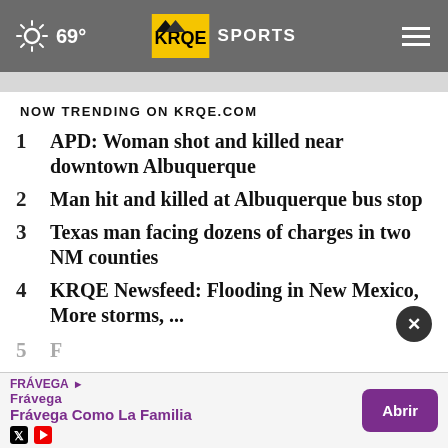69° KRQE SPORTS
NOW TRENDING ON KRQE.COM
1  APD: Woman shot and killed near downtown Albuquerque
2  Man hit and killed at Albuquerque bus stop
3  Texas man facing dozens of charges in two NM counties
4  KRQE Newsfeed: Flooding in New Mexico, More storms, ...
5  F... s...
[Figure (screenshot): Advertisement banner: Frávega Como La Familia with Abrir button]